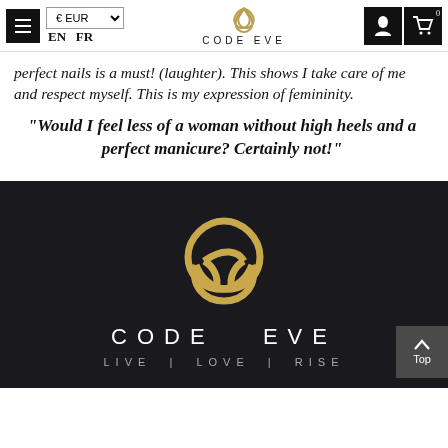CODE EVE — Navigation bar with EUR currency selector, EN FR language toggle, logo, user icon, cart icon
perfect nails is a must! (laughter). This shows I take care of me and respect myself. This is my expression of femininity.
“Would I feel less of a woman without high heels and a perfect manicure? Certainly not!”
[Figure (logo): Code Eve triquetra knot logo in gold on dark background, with brand name CODE EVE and tagline LIVE | LOVE | RISE]